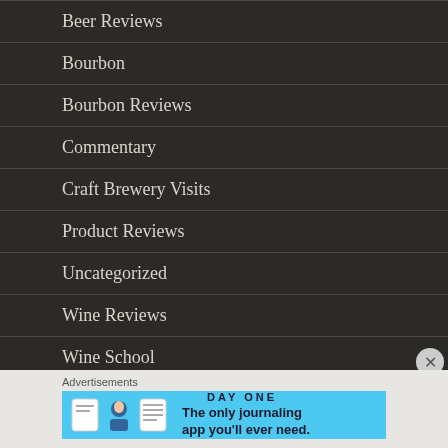Beer Reviews
Bourbon
Bourbon Reviews
Commentary
Craft Brewery Visits
Product Reviews
Uncategorized
Wine Reviews
Wine School
Advertisements
[Figure (screenshot): DAY ONE app advertisement banner with light blue background showing 'The only journaling app you'll ever need.' and three icons]